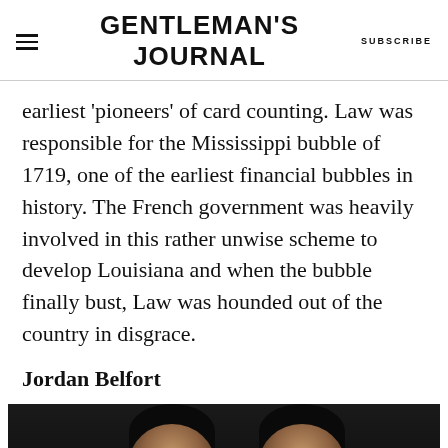GENTLEMAN'S JOURNAL | SUBSCRIBE
earliest ‘pioneers’ of card counting. Law was responsible for the Mississippi bubble of 1719, one of the earliest financial bubbles in history. The French government was heavily involved in this rather unwise scheme to develop Louisiana and when the bubble finally bust, Law was hounded out of the country in disgrace.
Jordan Belfort
[Figure (photo): Photo of Jordan Belfort, dark background with two people visible from shoulders up]